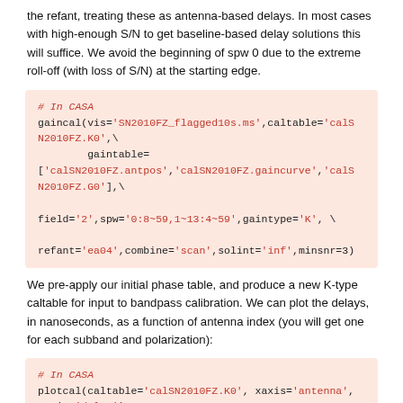the refant, treating these as antenna-based delays. In most cases with high-enough S/N to get baseline-based delay solutions this will suffice. We avoid the beginning of spw 0 due to the extreme roll-off (with loss of S/N) at the starting edge.
[Figure (screenshot): Code block: # In CASA
gaincal(vis='SN2010FZ_flagged10s.ms',caltable='calSN2010FZ.K0',\
        gaintable=
['calSN2010FZ.antpos','calSN2010FZ.gaincurve','calSN2010FZ.G0'],\

field='2',spw='0:8~59,1~13:4~59',gaintype='K', \

refant='ea04',combine='scan',solint='inf',minsnr=3)]
We pre-apply our initial phase table, and produce a new K-type caltable for input to bandpass calibration. We can plot the delays, in nanoseconds, as a function of antenna index (you will get one for each subband and polarization):
[Figure (screenshot): Code block: # In CASA
plotcal(caltable='calSN2010FZ.K0', xaxis='antenna',
yaxis='delay')]
The delays range from around -6 to 6 nanoseconds.